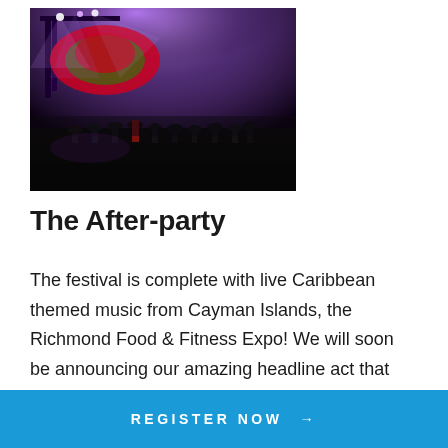[Figure (photo): Nighttime outdoor music festival scene with purple stage lights illuminating a crowd of people on a grass field, colorful inflatable structures visible in background]
The After-party
The festival is complete with live Caribbean themed music from Cayman Islands, the Richmond Food & Fitness Expo! We will soon be announcing our amazing headline act that will appear after your run!
REGISTER NOW →